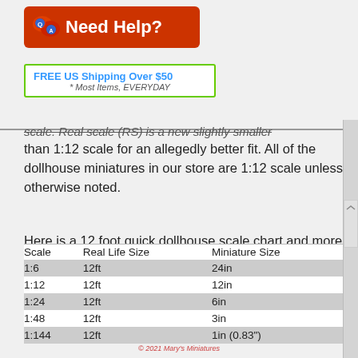[Figure (logo): Red banner with Q A speech bubble icon and 'Need Help?' text in white]
[Figure (infographic): Green-bordered box with 'FREE US Shipping Over $50' in blue bold text and '* Most Items, EVERYDAY' in italic gray below]
scale. Real scale (RS) is a new slightly smaller than 1:12 scale for an allegedly better fit. All of the dollhouse miniatures in our store are 1:12 scale unless otherwise noted.
Here is a 12 foot quick dollhouse scale chart and more information can be found HERE.
| Scale | Real Life Size | Miniature Size |
| --- | --- | --- |
| 1:6 | 12ft | 24in |
| 1:12 | 12ft | 12in |
| 1:24 | 12ft | 6in |
| 1:48 | 12ft | 3in |
| 1:144 | 12ft | 1in (0.83") |
© 2021 Mary's Miniatures